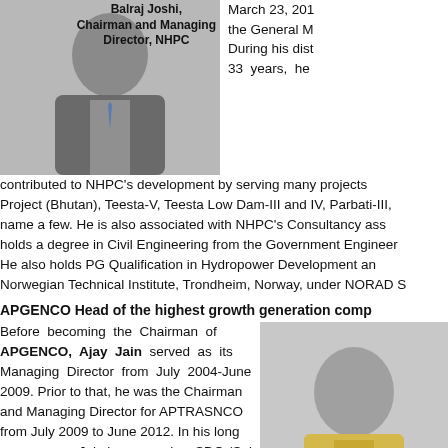[Figure (photo): Photo of Balraj Joshi, Chairman and Managing Director, NHPC]
Balraj Joshi,
Chairman and Managing Director, NHPC
March 23, 2017 the General Ma During his disti 33 years, he contributed to NHPC's development by serving many projects Project (Bhutan), Teesta-V, Teesta Low Dam-III and IV, Parbati-III, name a few. He is also associated with NHPC's Consultancy ass holds a degree in Civil Engineering from the Government Engineer He also holds PG Qualification in Hydropower Development an Norwegian Technical Institute, Trondheim, Norway, under NORAD S
APGENCO Head of the highest growth generation comp
Before becoming the Chairman of APGENCO, Ajay Jain served as its Managing Director from July 2004-June 2009. Prior to that, he was the Chairman and Managing Director for APTRASNCO from July 2009 to June 2012. In his long career span, Jain has served as SDO (Sub Divisional Officer) of Land Revenue Management and District Administration, Project Director Implementation Planning and District Collector and DM of
[Figure (photo): Photo of Ajay Jain, APGENCO Chairman]